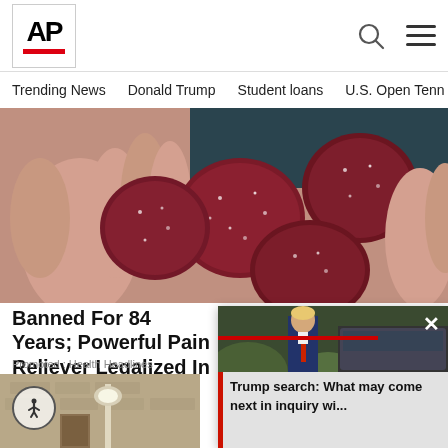AP
Trending News
Donald Trump
Student loans
U.S. Open Tenn
[Figure (photo): A hand holding several dark red sugary gummy candies covered in sugar crystals]
Banned For 84 Years; Powerful Pain Reliever Legalized In Virginia
Promoted : Health Headlines
[Figure (photo): Street-level building exterior with lamp]
[Figure (photo): Popup overlay photo of man in suit (Trump) with red progress bar and close button]
Trump search: What may come next in inquiry wi...